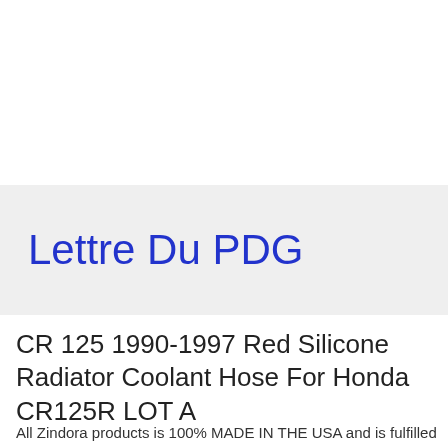[Figure (logo): Partial logo image visible at top-left corner, red and white circular design, cropped]
Lettre Du PDG
CR 125 1990-1997 Red Silicone Radiator Coolant Hose For Honda CR125R LOT A
All Zindora products is 100% MADE IN THE USA and is fulfilled by